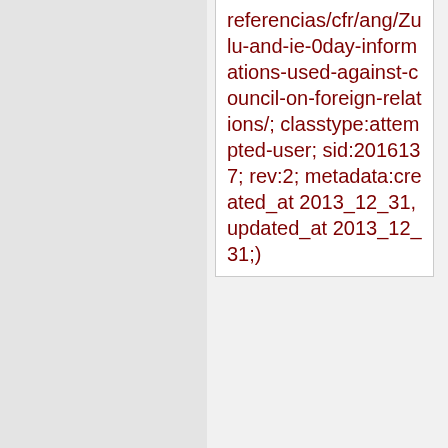referencias/cfr/ang/Zulu-and-ie-0day-informations-used-against-council-on-foreign-relations/; classtype:attempted-user; sid:2016137; rev:2; metadata:created_at 2013_12_31, updated_at 2013_12_31;)
Added 2017-08-07 21:09:48 UTC
alert tcp $HOME_NET any -> $EXTERNAL_NET $HTTP_PORTS